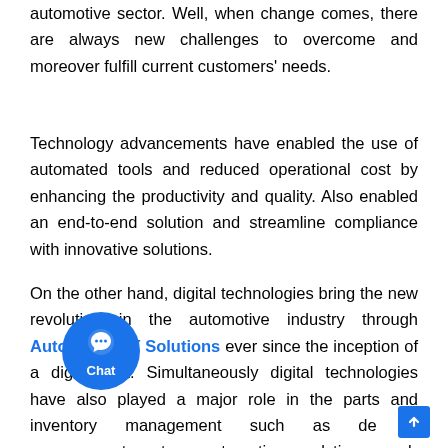automotive sector. Well, when change comes, there are always new challenges to overcome and moreover fulfill current customers' needs.
Technology advancements have enabled the use of automated tools and reduced operational cost by enhancing the productivity and quality. Also enabled an end-to-end solution and streamline compliance with innovative solutions.
On the other hand, digital technologies bring the new revolution in the automotive industry through Automotive IT Solutions ever since the inception of a digital era. Simultaneously digital technologies have also played a major role in the parts and inventory management such as demand management system, automotive analytics, supply chain management, and location-based vehicle tracking